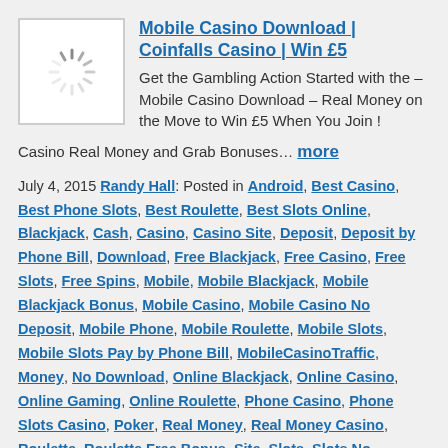[Figure (illustration): Thumbnail image with spinning loader icon (gray radial lines) on white background with gray border]
Mobile Casino Download | Coinfalls Casino | Win £5
Get the Gambling Action Started with the – Mobile Casino Download – Real Money on the Move to Win £5 When You Join ! Casino Real Money and Grab Bonuses… more
July 4, 2015 Randy Hall: Posted in Android, Best Casino, Best Phone Slots, Best Roulette, Best Slots Online, Blackjack, Cash, Casino, Casino Site, Deposit, Deposit by Phone Bill, Download, Free Blackjack, Free Casino, Free Slots, Free Spins, Mobile, Mobile Blackjack, Mobile Blackjack Bonus, Mobile Casino, Mobile Casino No Deposit, Mobile Phone, Mobile Roulette, Mobile Slots, Mobile Slots Pay by Phone Bill, MobileCasinoTraffic, Money, No Download, Online Blackjack, Online Casino, Online Gaming, Online Roulette, Phone Casino, Phone Slots Casino, Poker, Real Money, Real Money Casino, Roulette, Roulette Free Bonus, Site, Slots, Slots No Deposit, Slots Site, The Mobile, The Phone Casino, Top Slots, Traffic, UK •